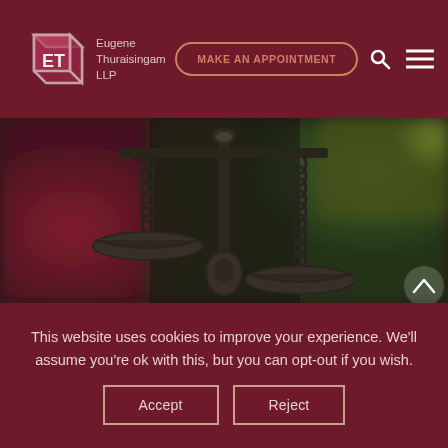Eugene Thuraisingam LLP — MAKE AN APPOINTMENT
[Figure (photo): Close-up photograph of bronze scales of justice hanging from chains against a blurred colorful background]
This website uses cookies to improve your experience. We'll assume you're ok with this, but you can opt-out if you wish.
Accept  Reject